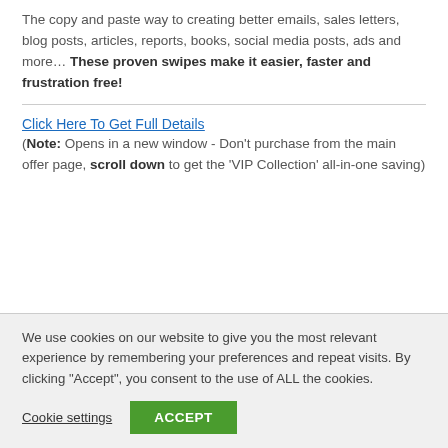The copy and paste way to creating better emails, sales letters, blog posts, articles, reports, books, social media posts, ads and more… These proven swipes make it easier, faster and frustration free!
Click Here To Get Full Details
(Note: Opens in a new window - Don't purchase from the main offer page, scroll down to get the 'VIP Collection' all-in-one saving)
We use cookies on our website to give you the most relevant experience by remembering your preferences and repeat visits. By clicking "Accept", you consent to the use of ALL the cookies.
Cookie settings | ACCEPT